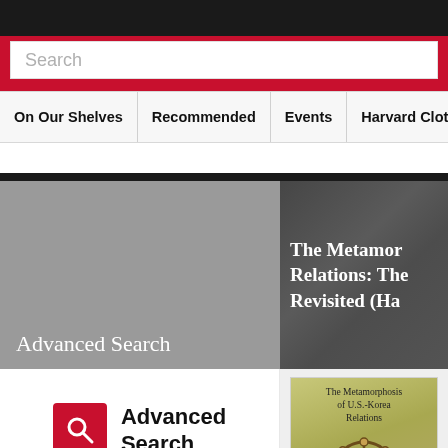Search
On Our Shelves | Recommended | Events | Harvard Clothing, Gif
[Figure (screenshot): Advanced Search section with grey banner and partially visible book feature panel showing 'The Metamor... Relations: The... Revisited (Ha...']
Advanced Search
Click here to use our advanced search.
[Figure (photo): Book cover for 'The Metamorphosis of U.S.-Korea Relations' showing a ship's wheel compass on a map background]